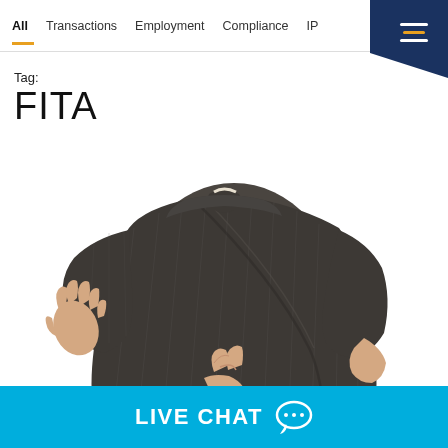All  Transactions  Employment  Compliance  IP
Tag:
FITA
[Figure (photo): A man in a dark pinstripe suit viewed from behind, right hand raised as if taking an oath, left hand behind his back with fingers crossed.]
LIVE CHAT